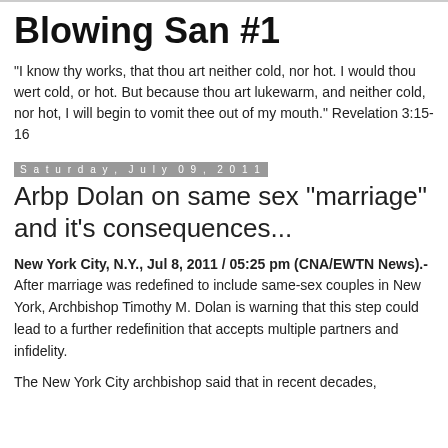Blowing San #1
"I know thy works, that thou art neither cold, nor hot. I would thou wert cold, or hot. But because thou art lukewarm, and neither cold, nor hot, I will begin to vomit thee out of my mouth." Revelation 3:15-16
Saturday, July 09, 2011
Arbp Dolan on same sex "marriage" and it's consequences...
New York City, N.Y., Jul 8, 2011 / 05:25 pm (CNA/EWTN News).- After marriage was redefined to include same-sex couples in New York, Archbishop Timothy M. Dolan is warning that this step could lead to a further redefinition that accepts multiple partners and infidelity.
The New York City archbishop said that in recent decades, the Church's teachings are not always heard by the faithful.